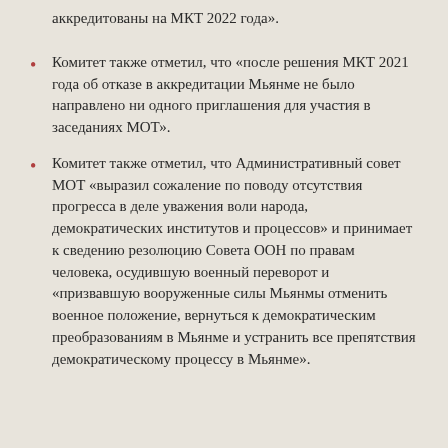аккредитованы на МКТ 2022 года».
Комитет также отметил, что «после решения МКТ 2021 года об отказе в аккредитации Мьянме не было направлено ни одного приглашения для участия в заседаниях МОТ».
Комитет также отметил, что Административный совет МОТ «выразил сожаление по поводу отсутствия прогресса в деле уважения воли народа, демократических институтов и процессов» и принимает к сведению резолюцию Совета ООН по правам человека, осудившую военный переворот и «призвавшую вооруженные силы Мьянмы отменить военное положение, вернуться к демократическим преобразованиям в Мьянме и устранить все препятствия демократическому процессу в Мьянме».